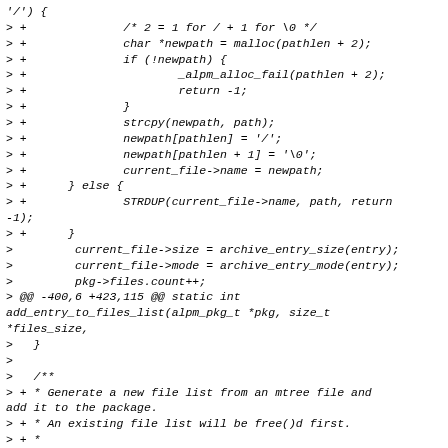Code diff showing C source modifications including malloc path allocation, strcpy, archive entry size/mode, and function documentation comments.